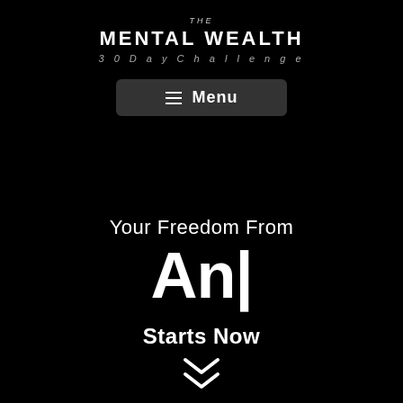THE MENTAL WEALTH 30 Day Challenge
[Figure (other): Navigation menu button with hamburger icon and 'Menu' text on dark rounded rectangle]
Your Freedom From
An|
Starts Now
[Figure (other): Double chevron down arrow indicator at bottom of page]